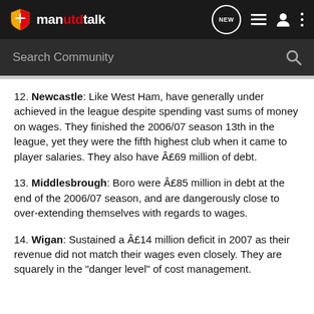manutdtalk — NEW
Search Community
12. Newcastle: Like West Ham, have generally under achieved in the league despite spending vast sums of money on wages. They finished the 2006/07 season 13th in the league, yet they were the fifth highest club when it came to player salaries. They also have £69 million of debt.
13. Middlesbrough: Boro were £85 million in debt at the end of the 2006/07 season, and are dangerously close to over-extending themselves with regards to wages.
14. Wigan: Sustained a £14 million deficit in 2007 as their revenue did not match their wages even closely. They are squarely in the "danger level" of cost management.